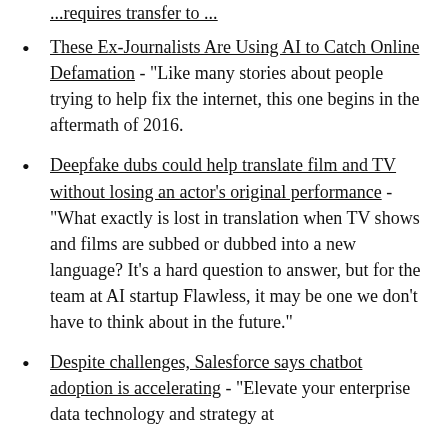These Ex-Journalists Are Using AI to Catch Online Defamation - "Like many stories about people trying to help fix the internet, this one begins in the aftermath of 2016.
Deepfake dubs could help translate film and TV without losing an actor's original performance - "What exactly is lost in translation when TV shows and films are subbed or dubbed into a new language? It's a hard question to answer, but for the team at AI startup Flawless, it may be one we don't have to think about in the future."
Despite challenges, Salesforce says chatbot adoption is accelerating - "Elevate your enterprise data technology and strategy at Tr...